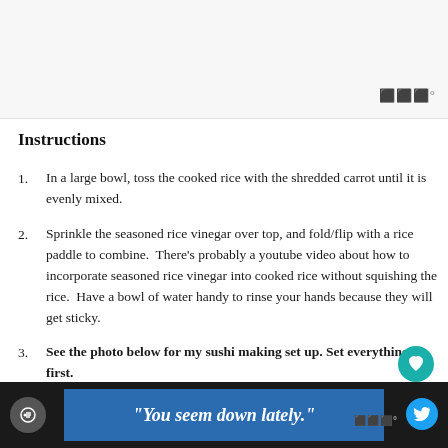[Figure (photo): Top image area showing a food photo (partially visible), with a watermark icon in bottom right]
Instructions
In a large bowl, toss the cooked rice with the shredded carrot until it is evenly mixed.
Sprinkle the seasoned rice vinegar over top, and fold/flip with a rice paddle to combine.  There's probably a youtube video about how to incorporate seasoned rice vinegar into cooked rice without squishing the rice.  Have a bowl of water handy to rinse your hands because they will get sticky.
See the photo below for my sushi making set up. Set everything up first.
[Figure (screenshot): Bottom banner ad with dark background and blue inset reading: "You seem down lately."]